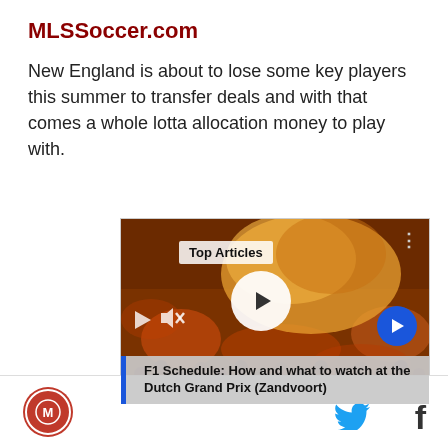MLSSoccer.com
New England is about to lose some key players this summer to transfer deals and with that comes a whole lotta allocation money to play with.
[Figure (screenshot): Embedded video player showing a crowd scene with orange smoke, featuring a 'Top Articles' badge, a play button, mute and play controls, a blue arrow button, and a caption at the bottom reading 'F1 Schedule: How and what to watch at the Dutch Grand Prix (Zandvoort)']
MLSSoccer.com logo, Twitter icon, Facebook icon